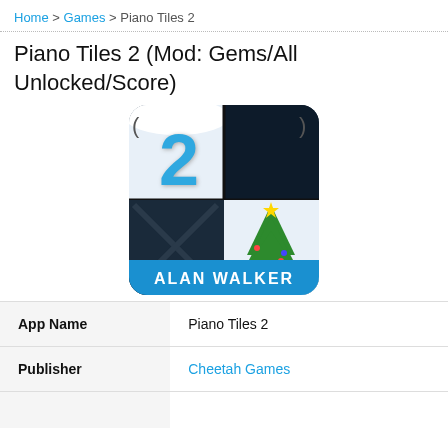Home > Games > Piano Tiles 2
Piano Tiles 2 (Mod: Gems/All Unlocked/Score)
[Figure (logo): Piano Tiles 2 app icon showing a blue '2' with snow on top, dark tile squares, a Christmas tree, and 'Alan Walker' text at the bottom on a blue bar]
| App Name | Piano Tiles 2 |
| --- | --- |
| Publisher | Cheetah Games |